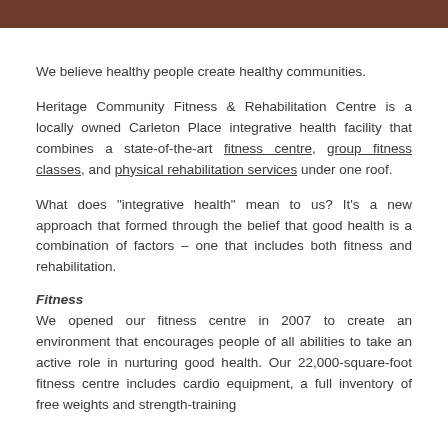We believe healthy people create healthy communities.
Heritage Community Fitness & Rehabilitation Centre is a locally owned Carleton Place integrative health facility that combines a state-of-the-art fitness centre, group fitness classes, and physical rehabilitation services under one roof.
What does "integrative health" mean to us? It's a new approach that formed through the belief that good health is a combination of factors – one that includes both fitness and rehabilitation.
Fitness
We opened our fitness centre in 2007 to create an environment that encourages people of all abilities to take an active role in nurturing good health. Our 22,000-square-foot fitness centre includes cardio equipment, a full inventory of free weights and strength-training